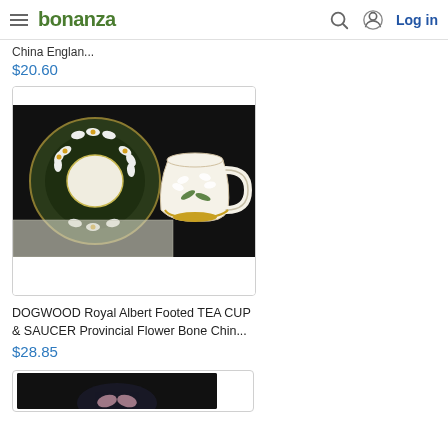bonanza — Log in
China Englan...
$20.60
[Figure (photo): Photo of a DOGWOOD Royal Albert Footed Tea Cup and Saucer with Provincial Flower Bone China pattern — white flowers on dark background]
DOGWOOD Royal Albert Footed TEA CUP & SAUCER Provincial Flower Bone Chin...
$28.85
[Figure (photo): Partial view of another tea cup product on dark background]